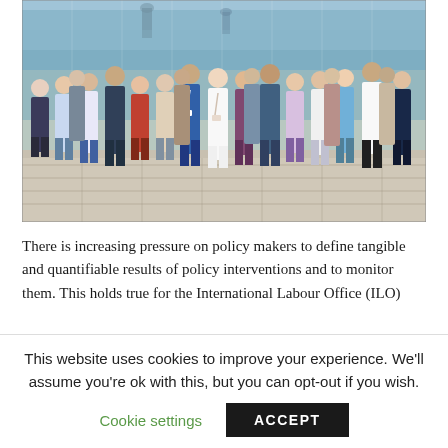[Figure (photo): Group photo of approximately 25 people standing together outdoors on a terrace or plaza, with a glass building and a distant mosque or large domed structure visible in the background. The group consists of men and women, many wearing conference lanyards, dressed in summer business attire.]
There is increasing pressure on policy makers to define tangible and quantifiable results of policy interventions and to monitor them. This holds true for the International Labour Office (ILO)
This website uses cookies to improve your experience. We'll assume you're ok with this, but you can opt-out if you wish.
Cookie settings   ACCEPT